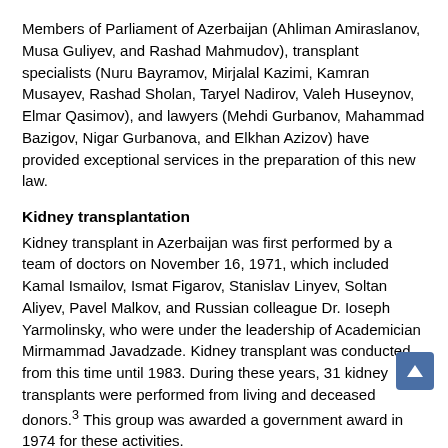Members of Parliament of Azerbaijan (Ahliman Amiraslanov, Musa Guliyev, and Rashad Mahmudov), transplant specialists (Nuru Bayramov, Mirjalal Kazimi, Kamran Musayev, Rashad Sholan, Taryel Nadirov, Valeh Huseynov, Elmar Qasimov), and lawyers (Mehdi Gurbanov, Mahammad Bazigov, Nigar Gurbanova, and Elkhan Azizov) have provided exceptional services in the preparation of this new law.
Kidney transplantation
Kidney transplant in Azerbaijan was first performed by a team of doctors on November 16, 1971, which included Kamal Ismailov, Ismat Figarov, Stanislav Linyev, Soltan Aliyev, Pavel Malkov, and Russian colleague Dr. Ioseph Yarmolinsky, who were under the leadership of Academician Mirmammad Javadzade. Kidney transplant was conducted from this time until 1983. During these years, 31 kidney transplants were performed from living and deceased donors.³ This group was awarded a government award in 1974 for these activities.
In 2002 (the period of independence), kidney transplant was resumed and developed. In 2002, 5 living donor kidney transplant